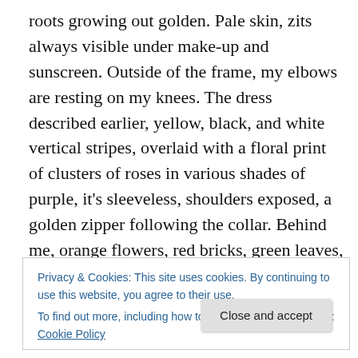roots growing out golden. Pale skin, zits always visible under make-up and sunscreen. Outside of the frame, my elbows are resting on my knees. The dress described earlier, yellow, black, and white vertical stripes, overlaid with a floral print of clusters of roses in various shades of purple, it's sleeveless, shoulders exposed, a golden zipper following the collar. Behind me, orange flowers, red bricks, green leaves, everything glowing in the sun.}
Since the blinds are closed, I decide I might as well walk up the brick path, might as well climb the four cement
Privacy & Cookies: This site uses cookies. By continuing to use this website, you agree to their use.
To find out more, including how to control cookies, see here: Cookie Policy